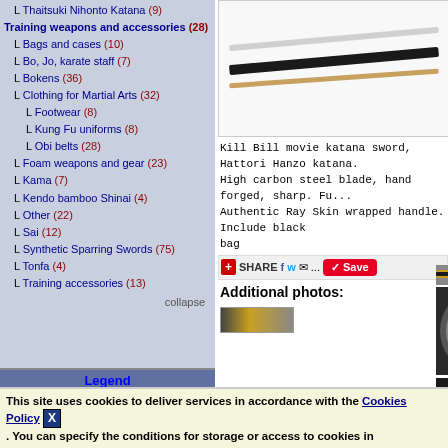Training weapons and accessories (28)
Bags and cases (10)
Bo, Jo, karate staff (7)
Bokens (36)
Clothing for Martial Arts (32)
Footwear (8)
Kung Fu uniforms (8)
Obi belts (28)
Foam weapons and gear (23)
Kama (7)
Kendo bamboo Shinai (4)
Other (22)
Sai (12)
Synthetic Sparring Swords (75)
Tonfa (4)
Training accessories (13)
Legend
N - New items
S - Clearance sale
P - Discounted items
+ - Add to favorites
camera icon - Additional photo in details view
[Figure (photo): Kill Bill movie katana sword blades on white background]
Kill Bill movie katana sword, Hattori Hanzo katana. High carbon steel blade, hand forged, sharp. Authentic Ray Skin wrapped handle. Include black bag
[Figure (photo): Additional photos of the katana sword: blade, tsuba guard, handle]
Additional photos:
This site uses cookies to deliver services in accordance with the Cookies Policy. You can specify the conditions for storage or access to cookies in